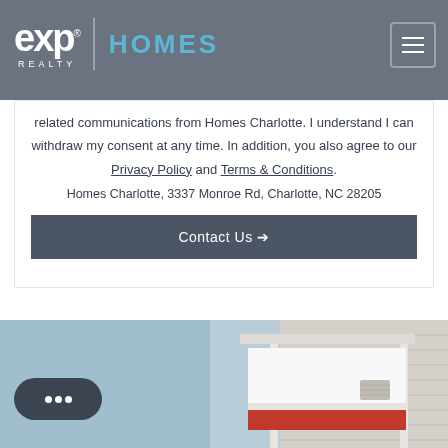[Figure (logo): eXp Realty logo with 'HOMES' text and navigation menu button on dark gray header]
related communications from Homes Charlotte. I understand I can withdraw my consent at any time. In addition, you also agree to our Privacy Policy and Terms & Conditions.
Homes Charlotte, 3337 Monroe Rd, Charlotte, NC 28205
Contact Us →
[Figure (photo): Real estate for-sale sign hanging in front of a house exterior, with blue sky background]